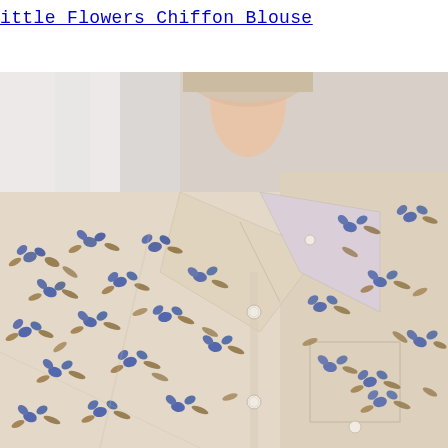Little Flowers Chiffon Blouse
[Figure (photo): Close-up photo of a woman wearing a cream/beige chiffon blouse with a small blue floral and brown leaf print pattern, featuring a spread collar and front button placket with a small chest pocket]